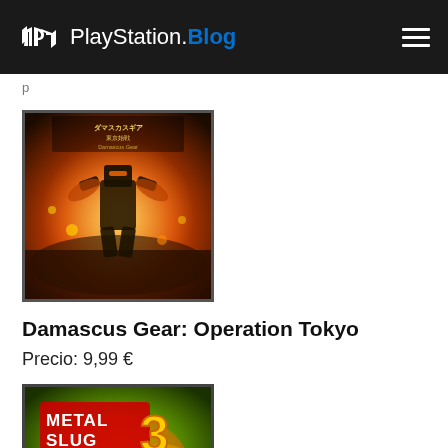PlayStation.Blog
p
[Figure (photo): Damascus Gear: Operation Tokyo game cover art showing a mech warrior with Japanese text and explosive background]
Damascus Gear: Operation Tokyo
Precio: 9,99 €
[Figure (photo): Metal Slug 3 game cover art showing colorful action scene with Metal Slug 3 logo]